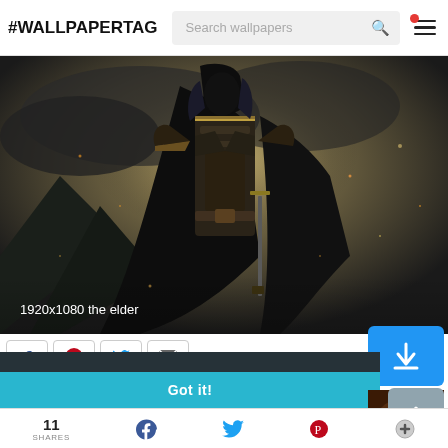#WALLPAPERTAG  Search wallpapers
[Figure (illustration): Fantasy dark warrior in ornate armor with a cape, holding a sword, standing in a dramatic dark landscape. Text overlay reads: 1920x1080 the elder]
This website uses cookies. Learn more
Got it!
11 SHARES